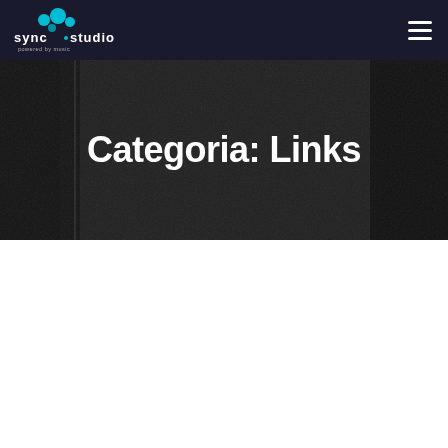sync•studio logo and navigation bar
Categoria: Links